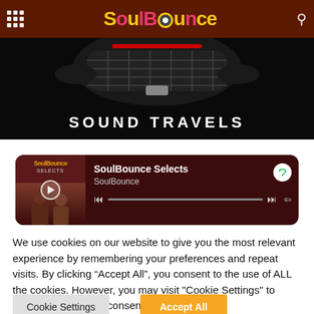SoulBounce
[Figure (screenshot): Hero banner image showing a car front grille on black background with text 'SOUND TRAVELS' in large white letters]
[Figure (screenshot): Spotify embedded player widget with SoulBounce Selects playlist, dark red background, play button, progress bar, and Spotify icon]
We use cookies on our website to give you the most relevant experience by remembering your preferences and repeat visits. By clicking “Accept All”, you consent to the use of ALL the cookies. However, you may visit "Cookie Settings" to provide a controlled consent.
Cookie Settings
Accept All